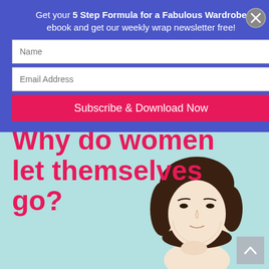Get your 5 Step Formula for a Fabulous Wardrobe ebook and get our weekly wrap newsletter free!
[Figure (screenshot): Email signup form with Name field, Email Address field, and Subscribe & Download Now button on blue background, with an X close button in upper right]
Why do women let themselves go?
[Figure (photo): A young Asian woman with short brown hair, looking upward thoughtfully with her hand on her chin, against a light teal/mint background]